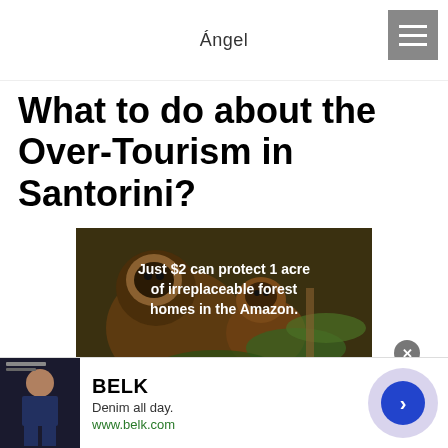Ángel
What to do about the Over-Tourism in Santorini?
[Figure (photo): Two brown monkeys (tufted capuchins) in Amazon forest with overlaid text: 'Just $2 can protect 1 acre of irreplaceable forest homes in the Amazon.']
[Figure (photo): Bottom banner advertisement for BELK clothing brand showing a model in denim. Text: 'BELK', 'Denim all day.', 'www.belk.com']